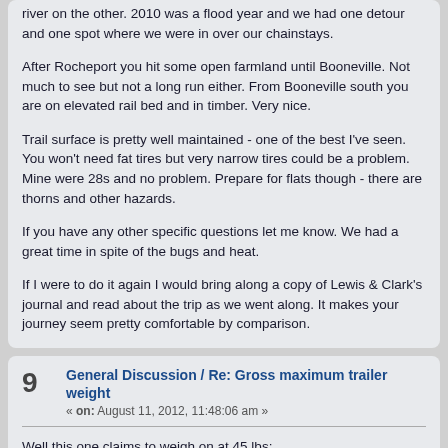river on the other.  2010 was  a flood year and we had one detour and one spot where we were in over our chainstays.
After Rocheport you hit some open farmland until Booneville.  Not much to see but not a long run either.  From Booneville south you are on elevated rail bed and in timber.  Very nice.
Trail surface is pretty well maintained - one of the best I've seen.  You won't need fat tires but very narrow tires could be a problem.  Mine were 28s and no problem.  Prepare for flats though - there are thorns and other hazards.
If you have any other specific questions let me know.  We had a great time in spite of the bugs and heat.
If I were to do it again I would bring along a copy of Lewis & Clark's journal and read about the trip as we went along.  It makes your journey seem pretty comfortable by comparison.
9  General Discussion / Re: Gross maximum trailer weight  « on: August 11, 2012, 11:48:06 am »
Well this one claims to weigh on at 45 lbs:
http://www.cyclelicio.us/2012/pop-up-camper-bike-trailer/